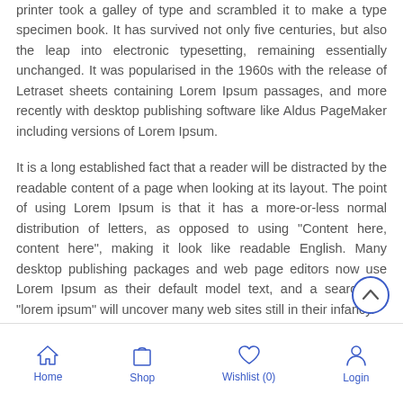printer took a galley of type and scrambled it to make a type specimen book. It has survived not only five centuries, but also the leap into electronic typesetting, remaining essentially unchanged. It was popularised in the 1960s with the release of Letraset sheets containing Lorem Ipsum passages, and more recently with desktop publishing software like Aldus PageMaker including versions of Lorem Ipsum.
It is a long established fact that a reader will be distracted by the readable content of a page when looking at its layout. The point of using Lorem Ipsum is that it has a more-or-less normal distribution of letters, as opposed to using "Content here, content here", making it look like readable English. Many desktop publishing packages and web page editors now use Lorem Ipsum as their default model text, and a search for "lorem ipsum" will uncover many web sites still in their infancy.
Home | Shop | Wishlist (0) | Login